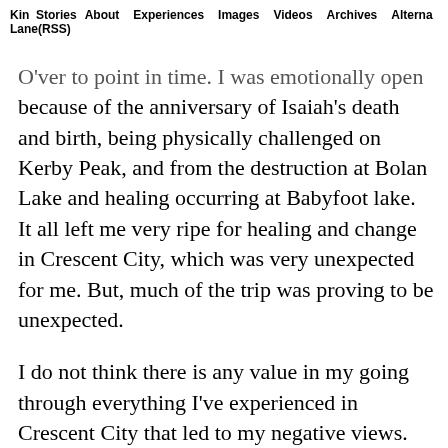Kin Stories Lane(RSS)  About  Experiences  Images  Videos  Archives  Alterna
O'ver to point in time. I was emotionally open because of the anniversary of Isaiah's death and birth, being physically challenged on Kerby Peak, and from the destruction at Bolan Lake and healing occurring at Babyfoot lake. It all left me very ripe for healing and change in Crescent City, which was very unexpected for me. But, much of the trip was proving to be unexpected.
I do not think there is any value in my going through everything I've experienced in Crescent City that led to my negative views. But there is value in me changing how I view the city, and letting it all go. Additionally, the path we walked